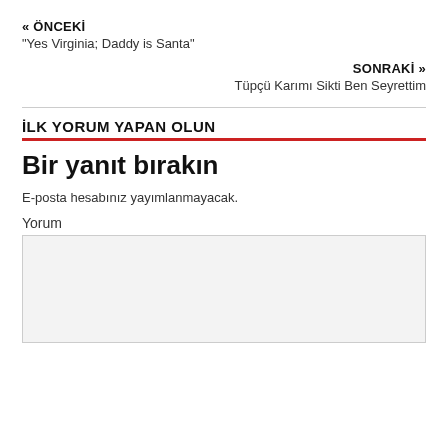« ÖNCEKİ
“Yes Virginia; Daddy is Santa”
SONRAKİ »
Tüpçü Karımı Sikti Ben Seyrettim
İLK YORUM YAPAN OLUN
Bir yanıt bırakın
E-posta hesabınız yayımlanmayacak.
Yorum